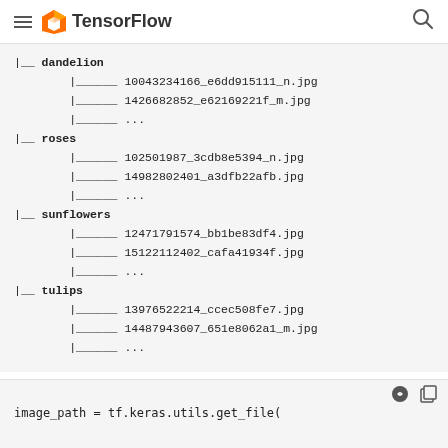[Figure (screenshot): TensorFlow website navigation bar with hamburger menu, TF logo, TensorFlow brand name, and search icon]
|__ dandelion
        |______ 10043234166_e6dd915111_n.jpg
        |______ 1426682852_e62169221f_m.jpg
        |______ ...
|__ roses
        |______ 102501987_3cdb8e5394_n.jpg
        |______ 14982802401_a3dfb22afb.jpg
        |______ ...
|__ sunflowers
        |______ 12471791574_bb1be83df4.jpg
        |______ 15122112402_cafa41934f.jpg
        |______ ...
|__ tulips
        |______ 13976522214_ccec508fe7.jpg
        |______ 14487943607_651e8062a1_m.jpg
        |______ ...
image_path = tf.keras.utils.get_file(